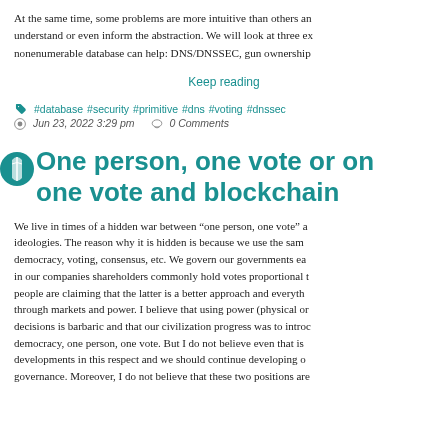At the same time, some problems are more intuitive than others and can help understand or even inform the abstraction. We will look at three examples where a nonenumerable database can help: DNS/DNSSEC, gun ownership
Keep reading
#database #security #primitive #dns #voting #dnssec
Jun 23, 2022 3:29 pm   0 Comments
One person, one vote or on one vote and blockchain
We live in times of a hidden war between “one person, one vote” and other ideologies. The reason why it is hidden is because we use the same words: democracy, voting, consensus, etc. We govern our governments each with one vote, in our companies shareholders commonly hold votes proportional to their shares. Some people are claiming that the latter is a better approach and everything should be decided through markets and power. I believe that using power (physical or economic) to make decisions is barbaric and that our civilization progress was to introduce democracy, one person, one vote. But I do not believe even that is the end of developments in this respect and we should continue developing our notion of governance. Moreover, I do not believe that these two positions are